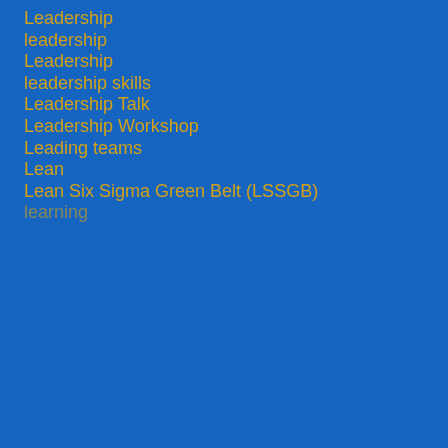Leadership
leadership
Leadership
leadership skills
Leadership Talk
Leadership Workshop
Leading teams
Lean
Lean Six Sigma Green Belt (LSSGB)
learning